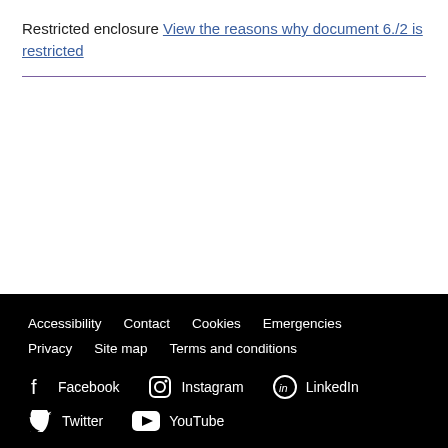Restricted enclosure View the reasons why document 6./2 is restricted
Accessibility  Contact  Cookies  Emergencies  Privacy  Site map  Terms and conditions  Facebook  Instagram  LinkedIn  Twitter  YouTube